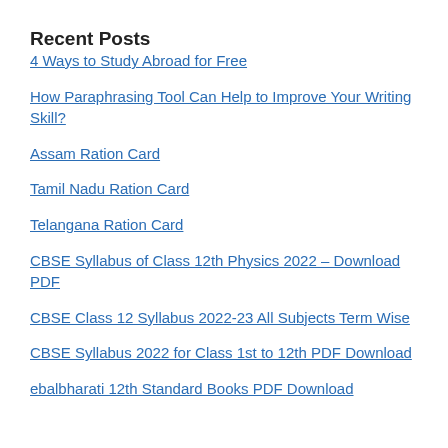Recent Posts
4 Ways to Study Abroad for Free
How Paraphrasing Tool Can Help to Improve Your Writing Skill?
Assam Ration Card
Tamil Nadu Ration Card
Telangana Ration Card
CBSE Syllabus of Class 12th Physics 2022 – Download PDF
CBSE Class 12 Syllabus 2022-23 All Subjects Term Wise
CBSE Syllabus 2022 for Class 1st to 12th PDF Download
ebalbharati 12th Standard Books PDF Download